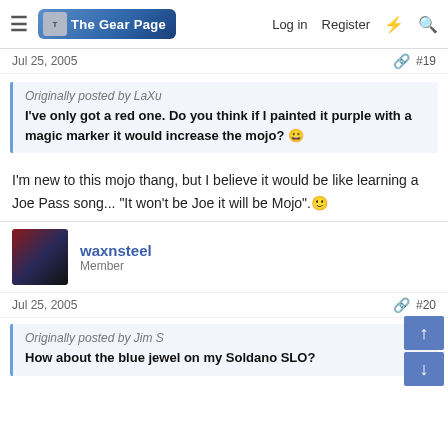The Gear Page — Log in Register
Jul 25, 2005  #19
Originally posted by LaXu
I've only got a red one. Do you think if I painted it purple with a magic marker it would increase the mojo? 😀
I'm new to this mojo thang, but I believe it would be like learning a Joe Pass song... "It won't be Joe it will be Mojo".🙂
waxnsteel
Member
Jul 25, 2005  #20
Originally posted by Jim S
How about the blue jewel on my Soldano SLO?